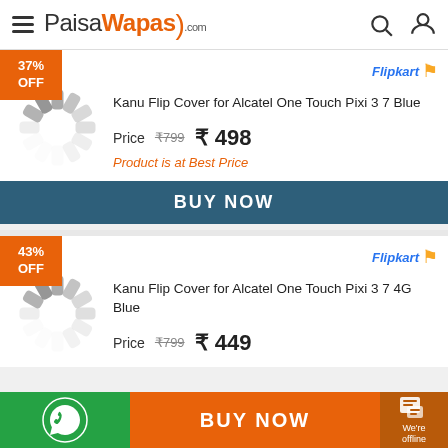PaisaWapas.com
[Figure (logo): PaisaWapas.com website logo with hamburger menu, search icon, and user icon in header]
37% OFF
[Figure (other): Flipkart seller logo]
[Figure (photo): Loading spinner graphic (image loading placeholder)]
Kanu Flip Cover for Alcatel One Touch Pixi 3 7 Blue
Price  ₹799  ₹498
Product is at Best Price
BUY NOW
43% OFF
[Figure (other): Flipkart seller logo second card]
[Figure (photo): Loading spinner graphic second product]
Kanu Flip Cover for Alcatel One Touch Pixi 3 7 4G Blue
Price  ₹799  ₹449
BUY NOW